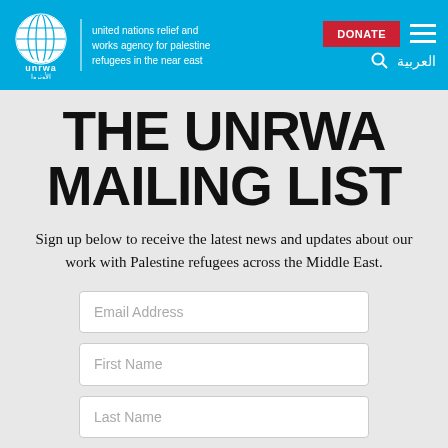[Figure (logo): UNRWA logo - globe with hands, UN emblem style, with 'unrwa' and Arabic text below]
united nations relief and works agency for palestine refugees in the near east
DONATE
THE UNRWA MAILING LIST
Sign up below to receive the latest news and updates about our work with Palestine refugees across the Middle East.
Email Address
First Name
Last Name